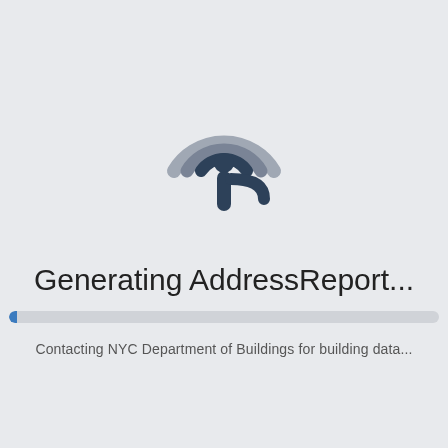[Figure (logo): Circular location pin / radio-wave style logo icon in dark navy and grey tones]
Generating AddressReport...
[Figure (other): Progress bar, nearly empty, with a small blue fill on the left]
Contacting NYC Department of Buildings for building data...